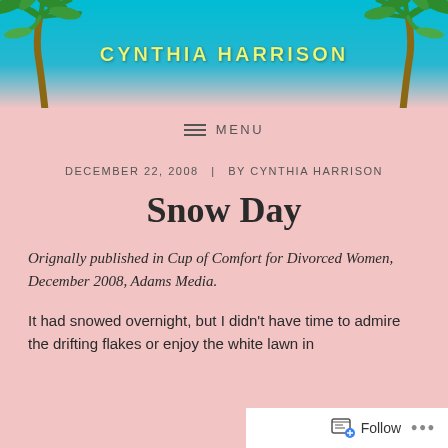[Figure (illustration): Blog header banner with tropical palm trees on left and right, sky blue background, and text 'CYNTHIA HARRISON' in yellow-green bold letters centered]
≡  MENU
DECEMBER 22, 2008  |  BY CYNTHIA HARRISON
Snow Day
Orignally published in Cup of Comfort for Divorced Women, December 2008, Adams Media.
It had snowed overnight, but I didn't have time to admire the drifting flakes or enjoy the white lawn in
Follow  •••